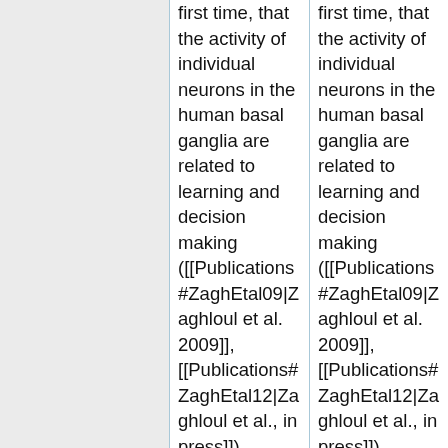first time, that the activity of individual neurons in the human basal ganglia are related to learning and decision making ([[Publications#ZaghEtal09|Zaghloul et al. 2009]], [[Publications#ZaghEtal12|Zaghloul et al., in press]]). Through clinical collaborations, we directly recorded neural activity from single-neurons in the human basal-
first time, that the activity of individual neurons in the human basal ganglia are related to learning and decision making ([[Publications#ZaghEtal09|Zaghloul et al. 2009]], [[Publications#ZaghEtal12|Zaghloul et al., in press]]). Through clinical collaborations, we directly recorded neural activity from single-neurons in the human basal-